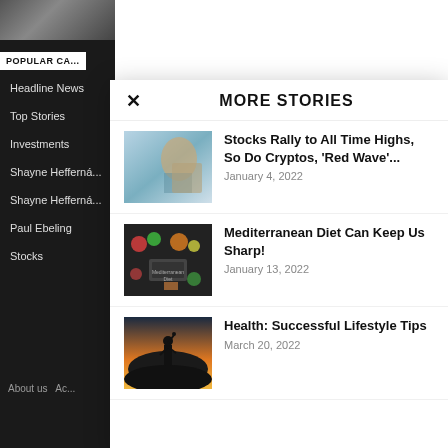POPULAR CA...
Headline News
Top Stories
Investments
Shayne Hefferna...
Shayne Hefferna...
Paul Ebeling
Stocks
MORE STORIES
Stocks Rally to All Time Highs, So Do Cryptos, ‘Red Wave’...
January 4, 2022
Mediterranean Diet Can Keep Us Sharp!
January 13, 2022
Health: Successful Lifestyle Tips
March 20, 2022
About us  Ac...
© LiveTradingNews